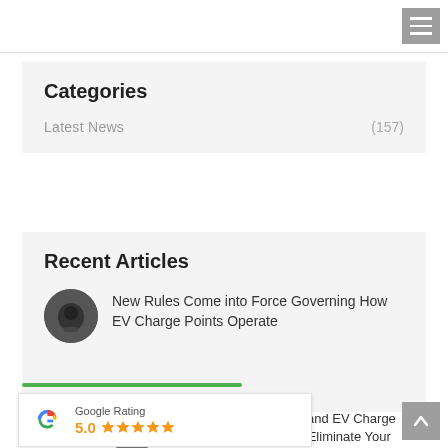Categories
Latest News (157)
Recent Articles
New Rules Come into Force Governing How EV Charge Points Operate
[Figure (other): Google Rating widget showing 5.0 stars]
our Car and EV Charge Point to Eliminate Your Electric Bill?